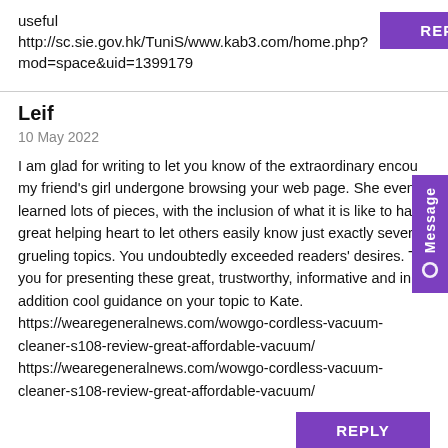useful http://sc.sie.gov.hk/TuniS/www.kab3.com/home.php?mod=space&uid=1399179
REPLY
Leif
10 May 2022
I am glad for writing to let you know of the extraordinary encou my friend's girl undergone browsing your web page. She even learned lots of pieces, with the inclusion of what it is like to hav great helping heart to let others easily know just exactly severa grueling topics. You undoubtedly exceeded readers' desires. Th you for presenting these great, trustworthy, informative and in addition cool guidance on your topic to Kate. https://wearegeneralnews.com/wowgo-cordless-vacuum-cleaner-s108-review-great-affordable-vacuum/ https://wearegeneralnews.com/wowgo-cordless-vacuum-cleaner-s108-review-great-affordable-vacuum/
REPLY
Hayden Ziebarth